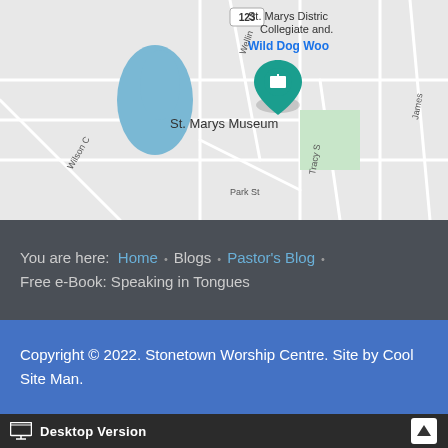[Figure (map): Google Maps screenshot showing St. Marys Museum with pin, surrounding streets including Park St, Wilson C, Tracy S, James, Wellington, and nearby landmarks St. Marys District Collegiate and Wild Dog Wood. Water body visible (blue pond) and green park area.]
You are here: Home • Blogs • Pastor's Blog • Free e-Book: Speaking in Tongues
Copyright © 2022. Stonetown Worship Centre. Site by Cool Site Man.
Desktop Version